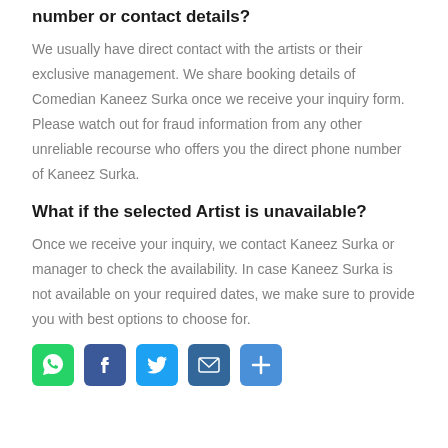number or contact details?
We usually have direct contact with the artists or their exclusive management. We share booking details of Comedian Kaneez Surka once we receive your inquiry form. Please watch out for fraud information from any other unreliable recourse who offers you the direct phone number of Kaneez Surka.
What if the selected Artist is unavailable?
Once we receive your inquiry, we contact Kaneez Surka or manager to check the availability. In case Kaneez Surka is not available on your required dates, we make sure to provide you with best options to choose for.
[Figure (other): Row of social media sharing icons: WhatsApp (green), Facebook (blue), Twitter (light blue), Email (dark blue), Share/Add (blue)]